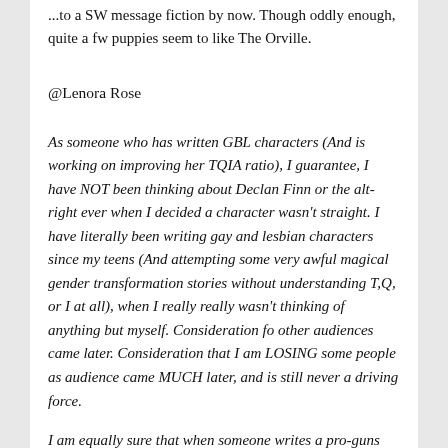...to a SW message fiction by now. Though oddly enough, quite a fw puppies seem to like The Orville.
@Lenora Rose
As someone who has written GBL characters (And is working on improving her TQIA ratio), I guarantee, I have NOT been thinking about Declan Finn or the alt-right ever when I decided a character wasn't straight. I have literally been writing gay and lesbian characters since my teens (And attempting some very awful magical gender transformation stories without understanding T,Q, or I at all), when I really really wasn't thinking of anything but myself. Consideration fo other audiences came later. Consideration that I am LOSING some people as audience came MUCH later, and is still never a driving force.
I am equally sure that when someone writes a pro-guns big monsters shoot-em-up with a Confederate flag on his lapel and a scarcity of female characters is not